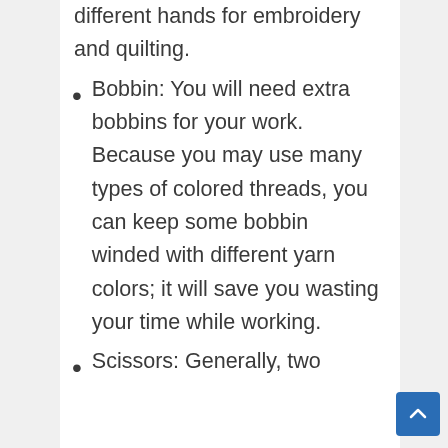different hands for embroidery and quilting.
Bobbin: You will need extra bobbins for your work. Because you may use many types of colored threads, you can keep some bobbin winded with different yarn colors; it will save you wasting your time while working.
Scissors: Generally, two